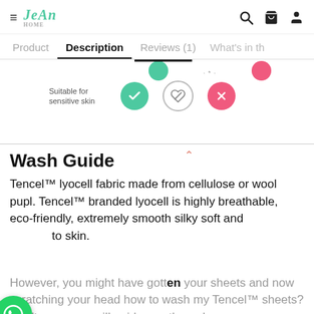JeAn — navigation bar with hamburger menu, logo, search, cart, and user icons
Product  Description  Reviews (1)  What's in th
[Figure (infographic): Comparison icons row: Suitable for sensitive skin — green checkmark circle, feather/leaf outline circle, pink X circle. Partial top row with partial green and pink circles visible above.]
Wash Guide
Tencel™ lyocell fabric made from cellulose or wool pupl. Tencel™ branded lyocell is highly breathable, eco-friendly, extremely smooth silky soft and to skin.
[Figure (logo): WhatsApp floating button — green circle with white WhatsApp phone/chat icon]
However, you might have gotten your sheets and now scratching your head how to wash my Tencel™ sheets? Don't worry, we will guide you through.